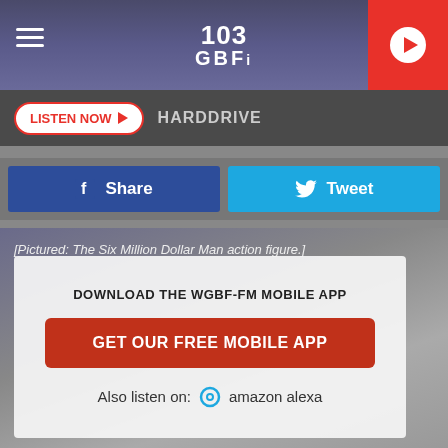[Figure (screenshot): 103 GBF radio station header with hamburger menu on left, 103 GBF logo in center, and red play button on right]
LISTEN NOW  HARDDRIVE
Share
Tweet
[Pictured: The Six Million Dollar Man action figure.]
DOWNLOAD THE WGBF-FM MOBILE APP
GET OUR FREE MOBILE APP
Also listen on:  amazon alexa